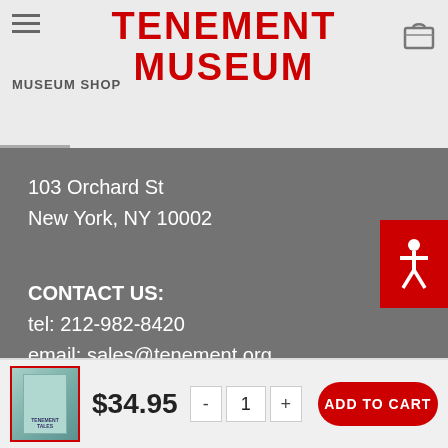MUSEUM SHOP
TENEMENT MUSEUM
103 Orchard St
New York, NY 10002
CONTACT US:
tel: 212-982-8420
email: sales@tenement.org
[Figure (other): Search bar with red search button]
[Figure (other): Product thumbnail with price $34.95, quantity selector, and ADD TO CART button]